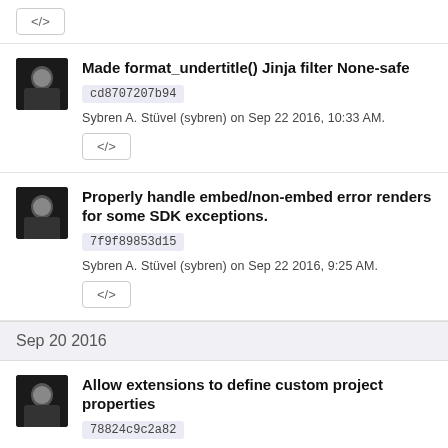[Figure (other): Code button (</>)]
Made format_undertitle() Jinja filter None-safe
cd8707207b94
Sybren A. Stüvel (sybren) on Sep 22 2016, 10:33 AM.
[Figure (other): Code button (</>)]
Properly handle embed/non-embed error renders for some SDK exceptions.
7f9f89853d15
Sybren A. Stüvel (sybren) on Sep 22 2016, 9:25 AM.
[Figure (other): Code button (</>)]
Sep 20 2016
Allow extensions to define custom project properties
78824c9c2a82
Sybren A. Stüvel (sybren) on Sep 20 2016, 3:59 PM.